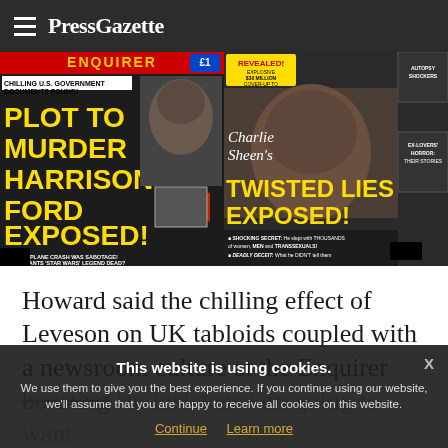PressGazette
[Figure (photo): Two National Enquirer magazine covers side by side. Left cover: 'PLOT TO MURDER HARRISON FORD EXPOSED!' with yellow headline text on dark background, photo of Harrison Ford. Right cover: 'Charlie Sheen's TWISTED LIES EXPOSED!' with yellow headline, photo of Charlie Sheen, and sidebar stories about HIV cover-up.]
Howard said the chilling effect of Leveson on UK tabloids coupled with a newsroom culture at the Enquirer boasting 'an insistence on going to want... "avalanche of sources" had enabled it to...
This website is using cookies. We use them to give you the best experience. If you continue using our website, we'll assume that you are happy to receive all cookies on this website. Continue Learn more